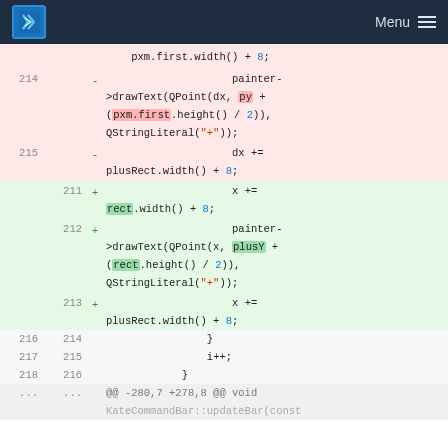KDE Menu
Code diff view showing removed and added lines in a C++ source file. Lines 214-215 removed (pink), lines 211-213 added (green), lines 216-218 context, and a hunk header starting with @@ -280,7 +278,8 @@ void KateCommandBar::updateBar(const
214 -  painter->drawText(QPoint(dx, py + (pxm.first.height() / 2)), QStringLiteral("+"));
215 -  dx += plusRect.width() + 8;
211 +  x += rect.width() + 8;
212 +  painter->drawText(QPoint(x, plusY + (rect.height() / 2)), QStringLiteral("+"));
213 +  x += plusRect.width() + 8;
216 214      }
217 215      i++;
218 216      }
... ...  @@ -280,7 +278,8 @@ void KateCommandBar::updateBar(const